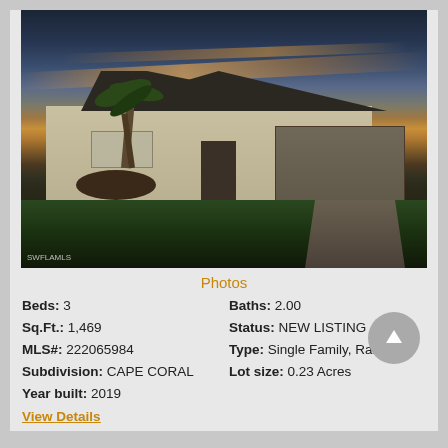[Figure (photo): Exterior photo of a single-family ranch-style home in Cape Coral at sunset/dusk, with a two-car garage, palm trees, green lawn, and colorful sky. Watermark reads SWFLAMLS.]
Photos
Beds: 3
Baths: 2.00
Sq.Ft.: 1,469
Status: NEW LISTING
MLS#: 222065984
Type: Single Family, Ranch
Subdivision: CAPE CORAL
Lot size: 0.23 Acres
Year built: 2019
View Details